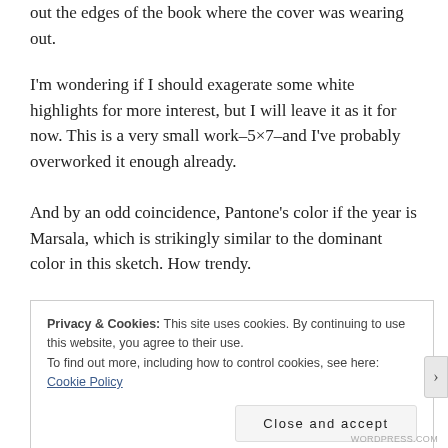out the edges of the book where the cover was wearing out.
I'm wondering if I should exagerate some white highlights for more interest, but I will leave it as it for now. This is a very small work–5×7–and I've probably overworked it enough already.
And by an odd coincidence, Pantone's color if the year is Marsala, which is strikingly similar to the dominant color in this sketch. How trendy.
Privacy & Cookies: This site uses cookies. By continuing to use this website, you agree to their use.
To find out more, including how to control cookies, see here: Cookie Policy

[Close and accept]